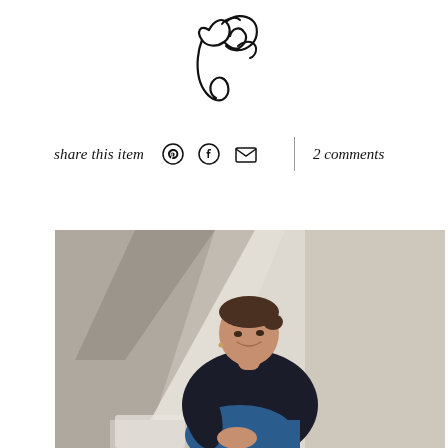[Figure (logo): Handwritten/script signature logo in black ink, cursive style]
share this item  2 comments
[Figure (photo): Woman with dark hair pulled back, wearing a navy/black sweater and blue jeans, sitting and smiling, photographed against a white wall with dramatic window light casting diagonal shadows]